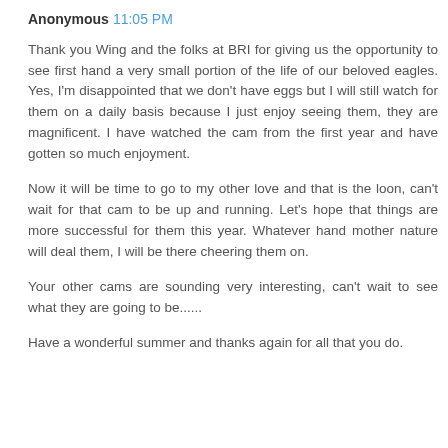Anonymous 11:05 PM
Thank you Wing and the folks at BRI for giving us the opportunity to see first hand a very small portion of the life of our beloved eagles. Yes, I'm disappointed that we don't have eggs but I will still watch for them on a daily basis because I just enjoy seeing them, they are magnificent. I have watched the cam from the first year and have gotten so much enjoyment.
Now it will be time to go to my other love and that is the loon, can't wait for that cam to be up and running. Let's hope that things are more successful for them this year. Whatever hand mother nature will deal them, I will be there cheering them on.
Your other cams are sounding very interesting, can't wait to see what they are going to be......
Have a wonderful summer and thanks again for all that you do.